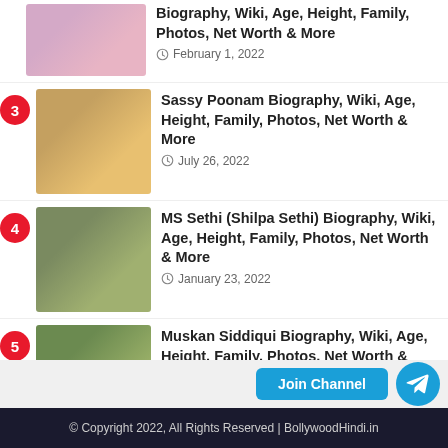Biography, Wiki, Age, Height, Family, Photos, Net Worth & More — February 1, 2022
Sassy Poonam Biography, Wiki, Age, Height, Family, Photos, Net Worth & More — July 26, 2022
MS Sethi (Shilpa Sethi) Biography, Wiki, Age, Height, Family, Photos, Net Worth & More — January 23, 2022
Muskan Siddiqui Biography, Wiki, Age, Height, Family, Photos, Net Worth & More — October 15, 2021
© Copyright 2022, All Rights Reserved | BollywoodHindi.in